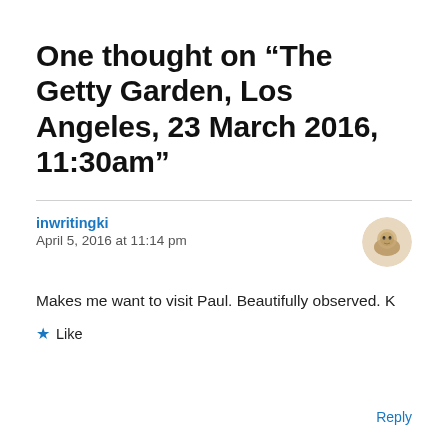One thought on “The Getty Garden, Los Angeles, 23 March 2016, 11:30am”
inwritingki
April 5, 2016 at 11:14 pm
Makes me want to visit Paul. Beautifully observed. K
Like
Reply